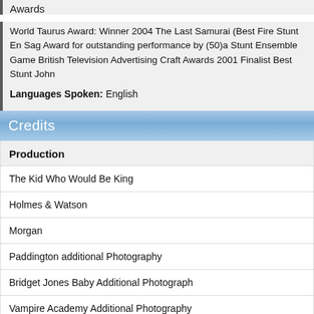Awards
World Taurus Award: Winner 2004 The Last Samurai (Best Fire Stunt En Sag Award for outstanding performance by (50)a Stunt Ensemble Game British Television Advertising Craft Awards 2001 Finalist Best Stunt John
Languages Spoken: English
Credits
Production
The Kid Who Would Be King
Holmes & Watson
Morgan
Paddington additional Photography
Bridget Jones Baby Additional Photograph
Vampire Academy Additional Photography